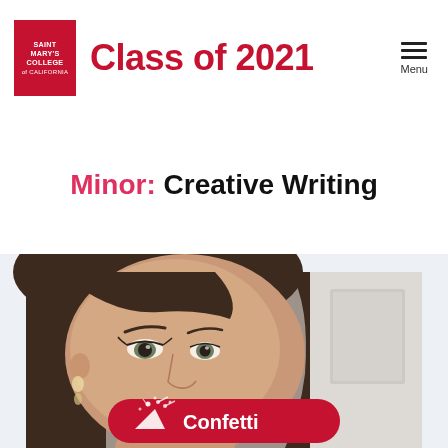Saint Mary's College of California — Class of 2021
Minor: Creative Writing
[Figure (photo): Close-up photo of a young woman with brown hair and bangs, looking at the camera. A red 'Confetti' button with a party popper icon is overlaid at the bottom center of the image.]